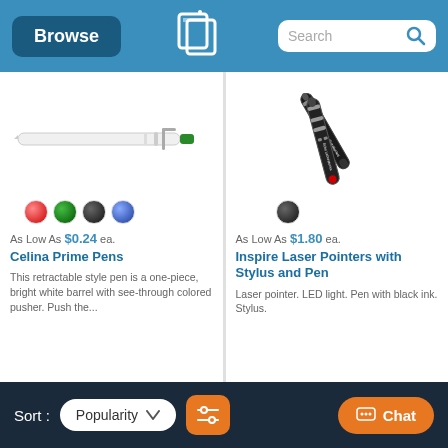Browse | Search
[Figure (photo): White retractable ballpoint pen with green accent tip, shown horizontally]
As Low As $0.24 ea.
Celina Prime Pens
This retractable style pen is a one-piece, bright white barrel with see-through colored pusher. Push the...
[Figure (photo): Two black laser pointer pens with silver accents, red laser tip, and stylus end, with 'Echo Laboratories' text]
As Low As $1.80 ea.
Inspire Laser Pointers with Stylus and Pen
Laser pointer. LED light. Pen with black ink. Stylus.
Sort : Popularity  Chat